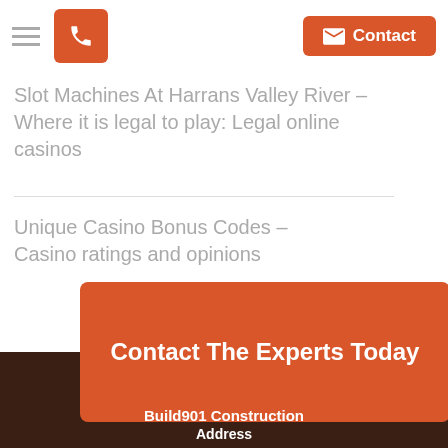Navigation bar with hamburger menu, phone button, and Contact button
Slot Machines At Harrans Valley River – Where it is legal to play: Legal online casinos
Unique Casino Bonus Codes – Casino ratings and opinions
Contact The Experts Today
Build901 Construction
Address